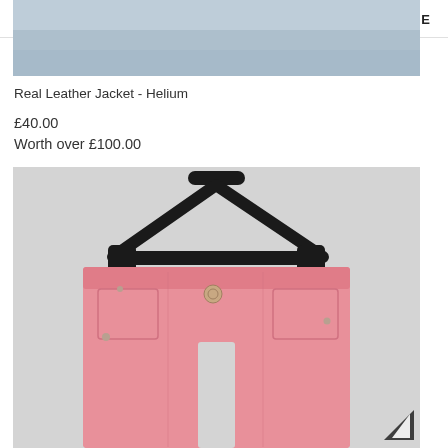HOME
[Figure (photo): Top portion of a photo showing blue/grey fabric or material]
Real Leather Jacket - Helium
£40.00
Worth over £100.00
[Figure (photo): Pink denim shorts hanging on a black clothes hanger against a light grey background]